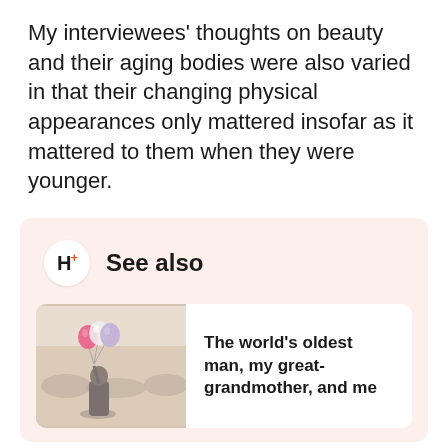My interviewees' thoughts on beauty and their aging bodies were also varied in that their changing physical appearances only mattered insofar as it mattered to them when they were younger.
H+ See also
[Figure (photo): Person from behind holding colorful balloons in a misty outdoor setting]
The world's oldest man, my great-grandmother, and me
When you've lost